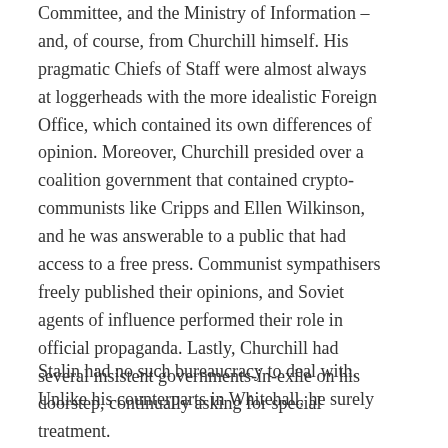Committee, and the Ministry of Information – and, of course, from Churchill himself. His pragmatic Chiefs of Staff were almost always at loggerheads with the more idealistic Foreign Office, which contained its own differences of opinion. Moreover, Churchill presided over a coalition government that contained crypto-communists like Cripps and Ellen Wilkinson, and he was answerable to a public that had access to a free press. Communist sympathisers freely published their opinions, and Soviet agents of influence performed their role in official propaganda. Lastly, Churchill had several insistent governments-in-exile on his doorstep, continually asking for special treatment.
Stalin had no such bureaucracy to deal with. Unlike his counterparts in Whitehall, he surely